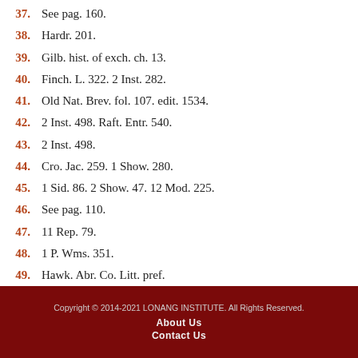37. See pag. 160.
38. Hardr. 201.
39. Gilb. hist. of exch. ch. 13.
40. Finch. L. 322. 2 Inst. 282.
41. Old Nat. Brev. fol. 107. edit. 1534.
42. 2 Inst. 498. Raft. Entr. 540.
43. 2 Inst. 498.
44. Cro. Jac. 259. 1 Show. 280.
45. 1 Sid. 86. 2 Show. 47. 12 Mod. 225.
46. See pag. 110.
47. 11 Rep. 79.
48. 1 P. Wms. 351.
49. Hawk. Abr. Co. Litt. pref.
Copyright © 2014-2021 LONANG INSTITUTE. All Rights Reserved. About Us Contact Us